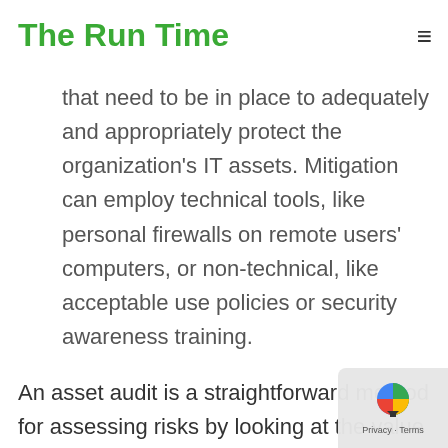The Run Time
that need to be in place to adequately and appropriately protect the organization's IT assets. Mitigation can employ technical tools, like personal firewalls on remote users' computers, or non-technical, like acceptable use policies or security awareness training.
An asset audit is a straightforward method for assessing risks by looking at the value and the vulnerability of an asset. Participants in the pr… also gain a better understanding of their inform… flow, vulnerabilities and the value of their